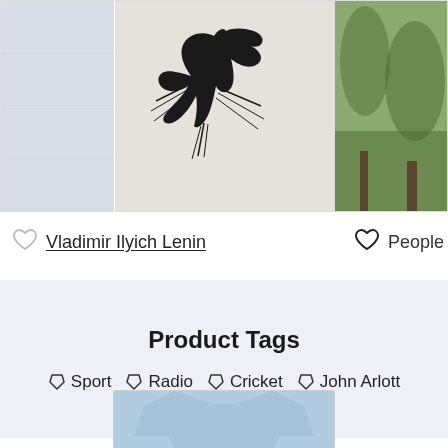[Figure (photo): Product image center: light gray t-shirt with black bird/silhouette graphic design]
[Figure (photo): Partial product image on the left side, pale blue-gray color]
[Figure (photo): Partial product image on the right side, muted green/natural scene]
Vladimir Ilyich Lenin
Product Tags
Sport   Radio   Cricket   John Arlott
You Recently Viewed
[Figure (photo): Light blue sweatshirt/crewneck product image at bottom]